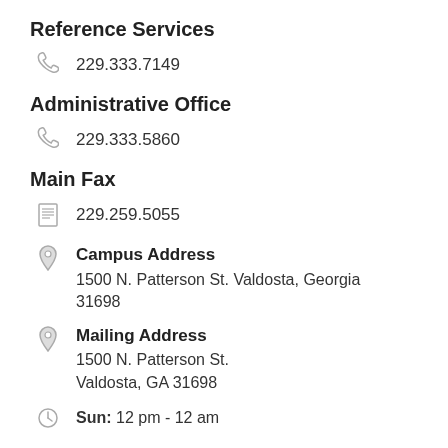Reference Services
229.333.7149
Administrative Office
229.333.5860
Main Fax
229.259.5055
Campus Address
1500 N. Patterson St. Valdosta, Georgia 31698
Mailing Address
1500 N. Patterson St.
Valdosta, GA 31698
Sun: 12 pm - 12 am